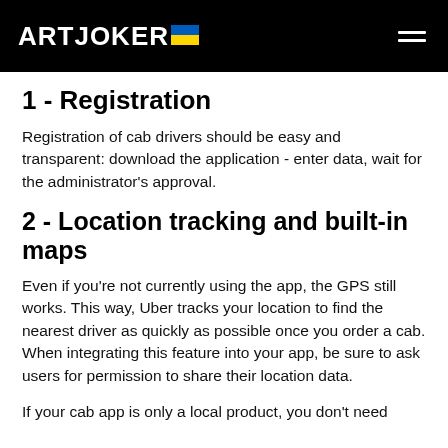ARTJOKER
1 - Registration
Registration of cab drivers should be easy and transparent: download the application - enter data, wait for the administrator's approval.
2 - Location tracking and built-in maps
Even if you're not currently using the app, the GPS still works. This way, Uber tracks your location to find the nearest driver as quickly as possible once you order a cab. When integrating this feature into your app, be sure to ask users for permission to share their location data.
If your cab app is only a local product, you don't need